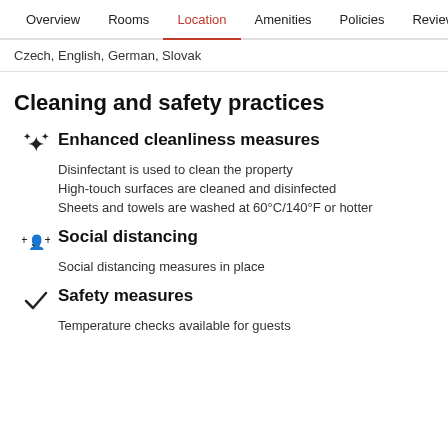Overview  Rooms  Location  Amenities  Policies  Reviews
Czech, English, German, Slovak
Cleaning and safety practices
Enhanced cleanliness measures
Disinfectant is used to clean the property
High-touch surfaces are cleaned and disinfected
Sheets and towels are washed at 60°C/140°F or hotter
Social distancing
Social distancing measures in place
Safety measures
Temperature checks available for guests